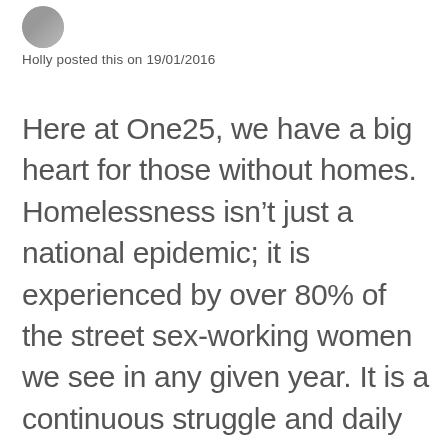[Figure (photo): Small circular avatar photo of a person, partially visible at top left]
Holly posted this on 19/01/2016
Here at One25, we have a big heart for those without homes. Homelessness isn’t just a national epidemic; it is experienced by over 80% of the street sex-working women we see in any given year. It is a continuous struggle and daily plight for many of the women who we know and love.